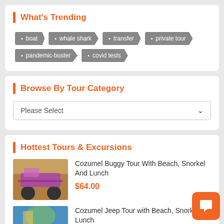What's Trending
boat
whale shark
transfer
private tour
pandemic-buster
covid tests
Browse By Tour Category
Please Select
Hottest Tours & Excursions
Cozumel Buggy Tour With Beach, Snorkel And Lunch
$64.00
Cozumel Jeep Tour with Beach, Snorkel and Lunch
[Figure (photo): Purple buggy vehicle on beach]
[Figure (photo): Jeep tour with tropical scenery]